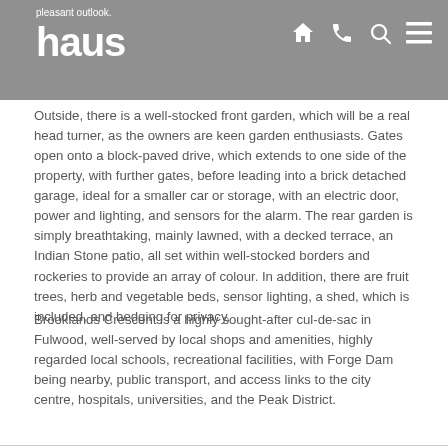pleasant outlook. haus
Outside, there is a well-stocked front garden, which will be a real head turner, as the owners are keen garden enthusiasts. Gates open onto a block-paved drive, which extends to one side of the property, with further gates, before leading into a brick detached garage, ideal for a smaller car or storage, with an electric door, power and lighting, and sensors for the alarm. The rear garden is simply breathtaking, mainly lawned, with a decked terrace, an Indian Stone patio, all set within well-stocked borders and rockeries to provide an array of colour. In addition, there are fruit trees, herb and vegetable beds, sensor lighting, a shed, which is included, and hedging for privacy.
Brooklands Crescent is a highly sought-after cul-de-sac in Fulwood, well-served by local shops and amenities, highly regarded local schools, recreational facilities, with Forge Dam being nearby, public transport, and access links to the city centre, hospitals, universities, and the Peak District.